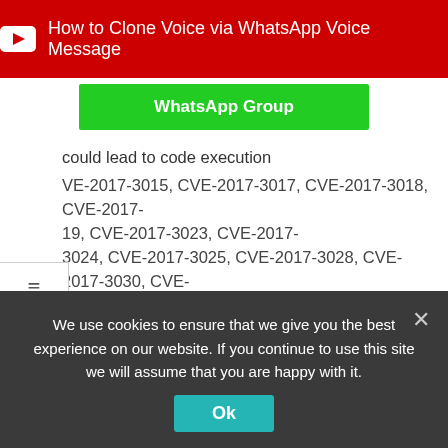[Figure (other): YouTube banner with red background, YouTube play button icon, and text: How to Clone Voice via WhatsApp Voice Message]
[Figure (other): Green WhatsApp Group button]
could lead to code execution
CVE-2017-3015, CVE-2017-3017, CVE-2017-3018, CVE-2017-3019, CVE-2017-3023, CVE-2017-3024, CVE-2017-3025, CVE-2017-3028, CVE-2017-3030, CVE-2017-3036, CVE-2017-3037, CVE-2017-3038, CVE-2017-3039, CVE-2017-3040, CVE-2017-3041, CVE-2017-3044, CVE-2017-3050, CVE-2017-3051, CVE-2017-3054, CVE-2017-3056, CVE-2017-3065).
These updates resolve integer overflow vulnerabilities that could
We use cookies to ensure that we give you the best experience on our website. If you continue to use this site we will assume that you are happy with it.
Ok